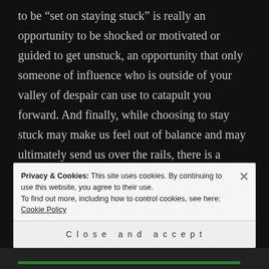to be “set on staying stuck” is really an opportunity to be shocked or motivated or guided to get unstuck, an opportunity that only someone of influence who is outside of your valley of despair can use to catapult you forward. And finally, while choosing to stay stuck may make us feel out of balance and may ultimately send us over the rails, there is a thread of difference between irrational thinking and the medical definition of insanity. We owe it to our brothers and sisters who are battling the diseases of
Privacy & Cookies: This site uses cookies. By continuing to use this website, you agree to their use.
To find out more, including how to control cookies, see here: Cookie Policy
Close and accept